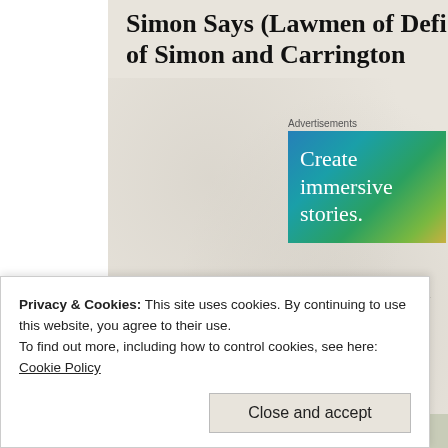Simon Says (Lawmen of Defi of Simon and Carrington
[Figure (screenshot): Advertisement banner with blue-to-green gradient background and white text reading 'Create immersive stories.' with label 'Advertisements' above]
Mind-blowing, toe-curling, shiver-inducin
SEX
with
Privacy & Cookies: This site uses cookies. By continuing to use this website, you agree to their use.
To find out more, including how to control cookies, see here: Cookie Policy
Close and accept
happily-ever-after into the mix, a novel i